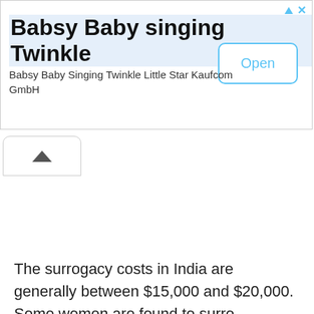[Figure (screenshot): Advertisement banner for 'Babsy Baby singing Twinkle' app by Kaufcom GmbH, with an Open button and close/info icons in the top right.]
[Figure (screenshot): A tab/collapse button with an upward chevron arrow, partially overlapping the ad banner bottom.]
The surrogacy costs in India are generally between $15,000 and $20,000. Some women are found to surro...